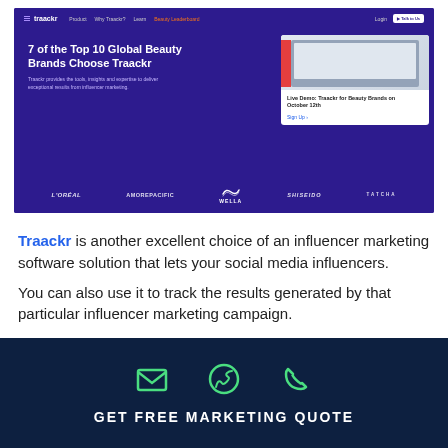[Figure (screenshot): Traackr website screenshot showing purple hero section with headline '7 of the Top 10 Global Beauty Brands Choose Traackr', subtext, a demo card on the right, and brand logos (L'OREAL, AMOREPACIFIC, WELLA, SHISEIDO, TATCHA) at bottom]
Traackr is another excellent choice of an influencer marketing software solution that lets your social media influencers.
You can also use it to track the results generated by that particular influencer marketing campaign.
GET FREE MARKETING QUOTE